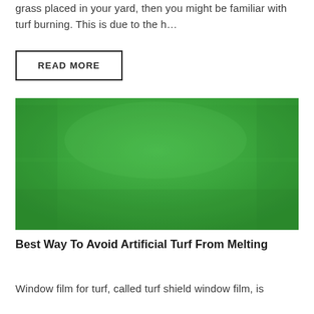grass placed in your yard, then you might be familiar with turf burning. This is due to the h…
READ MORE
[Figure (photo): Close-up photograph of green artificial turf grass surface with texture visible.]
Best Way To Avoid Artificial Turf From Melting
Window film for turf, called turf shield window film, is